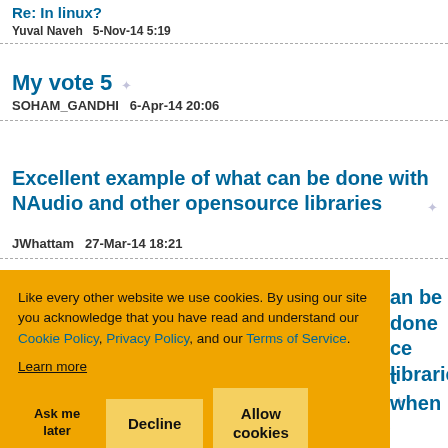Re: In linux?
Yuval Naveh   5-Nov-14 5:19
My vote 5
SOHAM_GANDHI   6-Apr-14 20:06
Excellent example of what can be done with NAudio and other opensource libraries
JWhattam   27-Mar-14 18:21
Like every other website we use cookies. By using our site you acknowledge that you have read and understand our Cookie Policy, Privacy Policy, and our Terms of Service. Learn more
Ask me later | Decline | Allow cookies
some side-effects with your algorithm